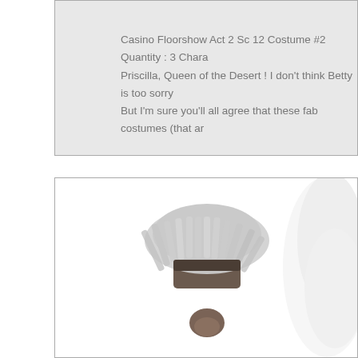Casino Floorshow Act 2 Sc 12 Costume #2 Quantity : 3 Chara... Priscilla, Queen of the Desert ! I don't think Betty is too sorry... But I'm sure you'll all agree that these fab costumes (that ar...
[Figure (photo): Photo of costume headpieces/wigs: a shaggy grey/white fringed hat or wig piece in the center, and a white fluffy/feathered piece on the right edge, with a small brown circular piece below the fringed piece.]